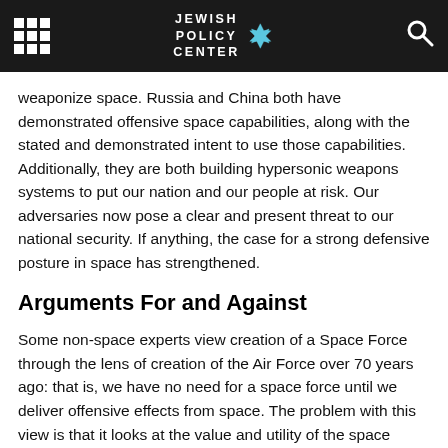Jewish Policy Center
weaponize space. Russia and China both have demonstrated offensive space capabilities, along with the stated and demonstrated intent to use those capabilities. Additionally, they are both building hypersonic weapons systems to put our nation and our people at risk. Our adversaries now pose a clear and present threat to our national security. If anything, the case for a strong defensive posture in space has strengthened.
Arguments For and Against
Some non-space experts view creation of a Space Force through the lens of creation of the Air Force over 70 years ago: that is, we have no need for a space force until we deliver offensive effects from space. The problem with this view is that it looks at the value and utility of the space medium through the lens of the air medium. All four mediums in which we operate (air, sea, land, and space) have